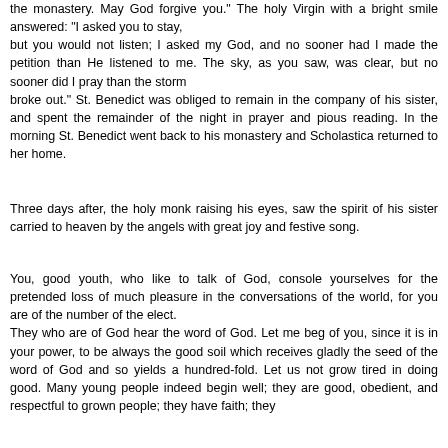the monastery. May God forgive you." The holy Virgin with a bright smile answered: "I asked you to stay, but you would not listen; I asked my God, and no sooner had I made the petition than He listened to me. The sky, as you saw, was clear, but no sooner did I pray than the storm broke out." St. Benedict was obliged to remain in the company of his sister, and spent the remainder of the night in prayer and pious reading. In the morning St. Benedict went back to his monastery and Scholastica returned to her home.
Three days after, the holy monk raising his eyes, saw the spirit of his sister carried to heaven by the angels with great joy and festive song.
You, good youth, who like to talk of God, console yourselves for the pretended loss of much pleasure in the conversations of the world, for you are of the number of the elect. They who are of God hear the word of God. Let me beg of you, since it is in your power, to be always the good soil which receives gladly the seed of the word of God and so yields a hundred-fold. Let us not grow tired in doing good. Many young people indeed begin well; they are good, obedient, and respectful to grown people; they have faith; they